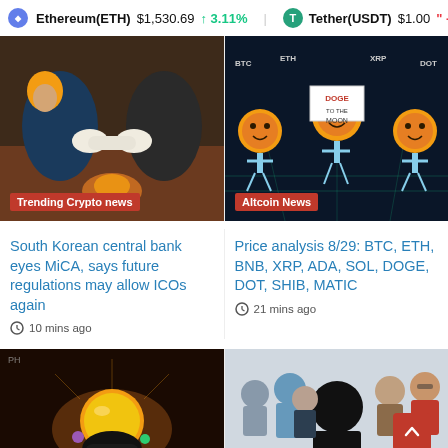Ethereum(ETH) $1,530.69 ↑ 3.11% | Tether(USDT) $1.00 " -0.00
[Figure (illustration): Illustration of a handshake between two figures in suits with a red 'Trending Crypto news' label overlay]
[Figure (illustration): Illustration of cartoon crypto coin characters holding signs for various coins (DOGE, ETH, XRP, etc.) with a red 'Altcoin News' label overlay]
South Korean central bank eyes MiCA, says future regulations may allow ICOs again
10 mins ago
Price analysis 8/29: BTC, ETH, BNB, XRP, ADA, SOL, DOGE, DOT, SHIB, MATIC
21 mins ago
[Figure (illustration): Dark illustration of a person holding a glowing golden sphere/egg with colorful lights]
[Figure (illustration): Illustration of people at what appears to be a formal meeting or hearing, with a red scroll-to-top button overlay]